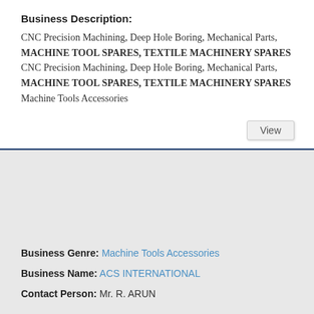Business Description:
CNC Precision Machining, Deep Hole Boring, Mechanical Parts, MACHINE TOOL SPARES, TEXTILE MACHINERY SPARES CNC Precision Machining, Deep Hole Boring, Mechanical Parts, MACHINE TOOL SPARES, TEXTILE MACHINERY SPARES Machine Tools Accessories
View
Business Genre: Machine Tools Accessories
Business Name: ACS INTERNATIONAL
Contact Person: Mr. R. ARUN